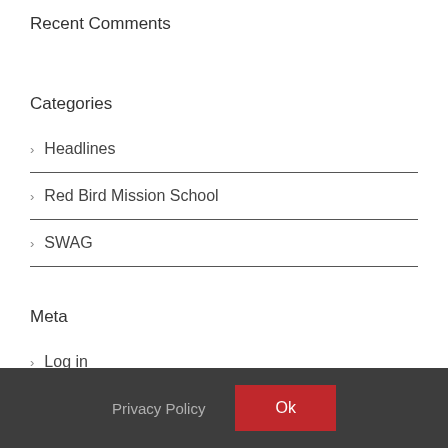Recent Comments
Categories
Headlines
Red Bird Mission School
SWAG
Meta
Log in
Entries feed
Privacy Policy  Ok